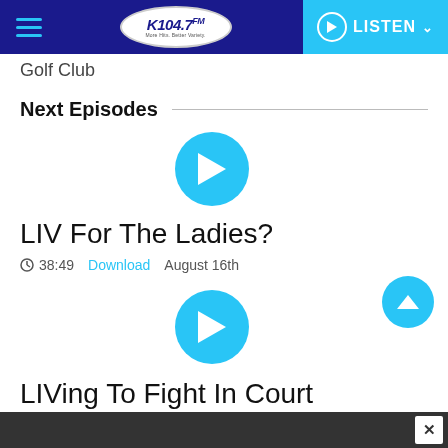K104.7 FM — LISTEN
Golf Club
Next Episodes
[Figure (other): Cyan circular play button for episode 1]
LIV For The Ladies?
38:49   Download   August 16th
[Figure (other): Cyan circular play button for episode 2]
LIVing To Fight In Court
Advertisement close button